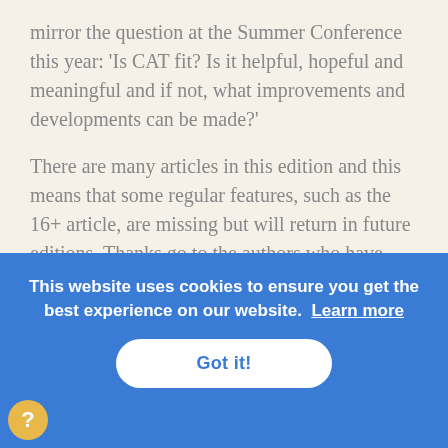mirror the question at the Summer Conference this year: 'Is CAT fit? Is it helpful, hopeful and meaningful and if not, what improvements and developments can be made?'
There are many articles in this edition and this means that some regular features, such as the 16+ article, are missing but will return in future editions. Thanks go to the authors who have provided papers for this edition. When talking about the editor role, Jason put it succinctly: "you c... w... w... a... t...
CAT community about the inspiring work that they
[Figure (screenshot): Cookie consent banner with blue background. Text reads: 'This website uses cookies to ensure you get the best experience on our website. Learn more' with a white 'Got it!' button.]